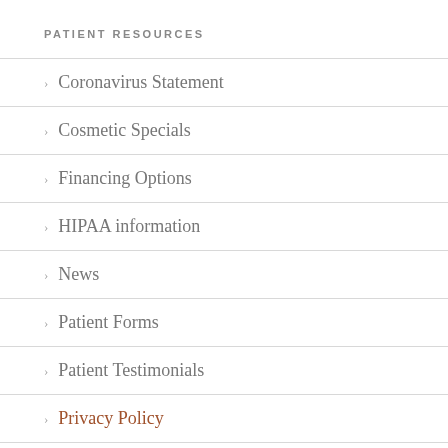PATIENT RESOURCES
Coronavirus Statement
Cosmetic Specials
Financing Options
HIPAA information
News
Patient Forms
Patient Testimonials
Privacy Policy